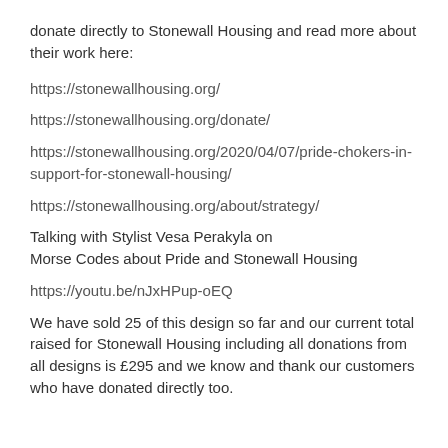donate directly to Stonewall Housing and read more about their work here:
https://stonewallhousing.org/
https://stonewallhousing.org/donate/
https://stonewallhousing.org/2020/04/07/pride-chokers-in-support-for-stonewall-housing/
https://stonewallhousing.org/about/strategy/
Talking with Stylist Vesa Perakyla on Morse Codes about Pride and Stonewall Housing
https://youtu.be/nJxHPup-oEQ
We have sold 25 of this design so far and our current total raised for Stonewall Housing including all donations from all designs is £295 and we know and thank our customers who have donated directly too.